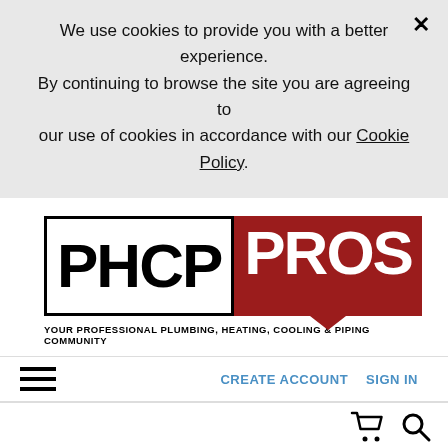We use cookies to provide you with a better experience. By continuing to browse the site you are agreeing to our use of cookies in accordance with our Cookie Policy.
[Figure (logo): PHCP PROS logo — YOUR PROFESSIONAL PLUMBING, HEATING, COOLING & PIPING COMMUNITY]
CREATE ACCOUNT   SIGN IN
Home » Topics » Management , How To